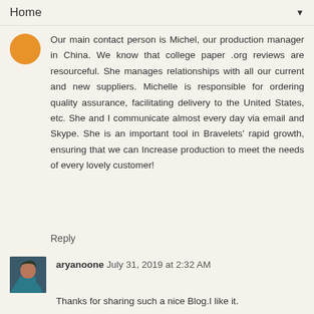Home ▼
Our main contact person is Michel, our production manager in China. We know that college paper .org reviews are resourceful. She manages relationships with all our current and new suppliers. Michelle is responsible for ordering quality assurance, facilitating delivery to the United States, etc. She and I communicate almost every day via email and Skype. She is an important tool in Bravelets' rapid growth, ensuring that we can Increase production to meet the needs of every lovely customer!
Reply
aryanoone July 31, 2019 at 2:32 AM
Thanks for sharing such a nice Blog.I like it.